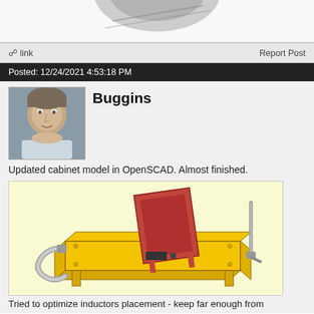[Figure (photo): Partial view of a mechanical/electronic component (top of page, cropped)]
link    Report Post
Posted: 12/24/2021 4:53:18 PM
[Figure (photo): Avatar photo of user Buggins - male face]
Buggins
Updated cabinet model in OpenSCAD. Almost finished.
[Figure (engineering-diagram): 3D CAD render of a yellow metal cabinet/enclosure with a red tilted panel on top and a curved conduit on the left, rendered in OpenSCAD]
Tried to optimize inductors placement - keep far enough from